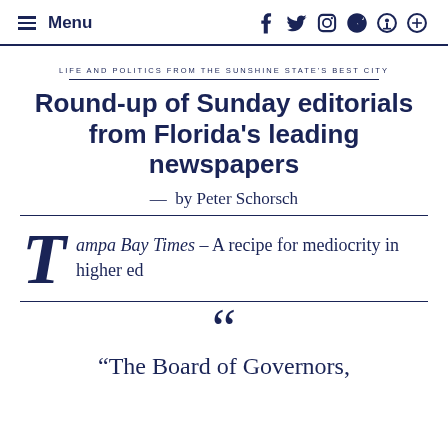Menu | [social icons: Facebook, Twitter, Instagram, RSS, Search]
LIFE AND POLITICS FROM THE SUNSHINE STATE'S BEST CITY
Round-up of Sunday editorials from Florida's leading newspapers
— by Peter Schorsch
Tampa Bay Times – A recipe for mediocrity in higher ed
“The Board of Governors,